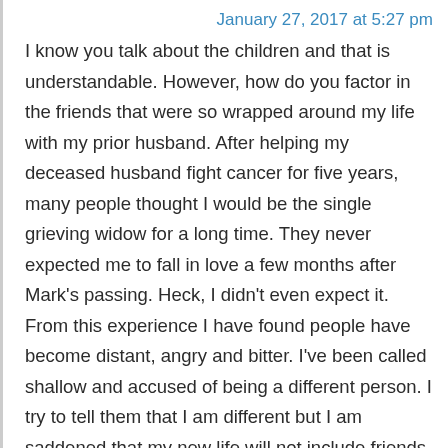January 27, 2017 at 5:27 pm
I know you talk about the children and that is understandable. However, how do you factor in the friends that were so wrapped around my life with my prior husband. After helping my deceased husband fight cancer for five years, many people thought I would be the single grieving widow for a long time. They never expected me to fall in love a few months after Mark’s passing. Heck, I didn’t even expect it. From this experience I have found people have become distant, angry and bitter. I’ve been called shallow and accused of being a different person. I try to tell them that I am different but I am saddened that my new life will not include friends who I have been close to for over 19 years. Should I just shrug it off and